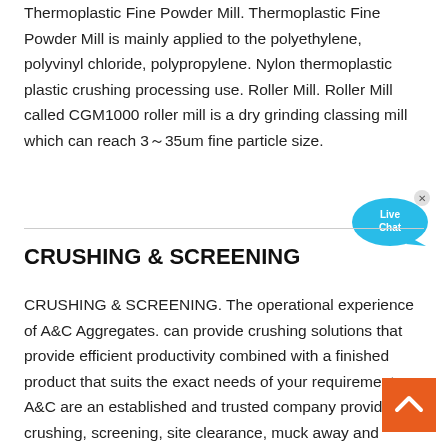Thermoplastic Fine Powder Mill. Thermoplastic Fine Powder Mill is mainly applied to the polyethylene, polyvinyl chloride, polypropylene. Nylon thermoplastic plastic crushing processing use. Roller Mill. Roller Mill called CGM1000 roller mill is a dry grinding classing mill which can reach 3～35um fine particle size.
[Figure (other): Live Chat button: teal speech bubble with 'Live Chat' text and a close (x) icon]
CRUSHING & SCREENING
CRUSHING & SCREENING. The operational experience of A&C Aggregates. can provide crushing solutions that provide efficient productivity combined with a finished product that suits the exact needs of your requirements. A&C are an established and trusted company providing crushing, screening, site clearance, muck away and aggregate production.
[Figure (other): Orange back-to-top button with white upward chevron arrow]